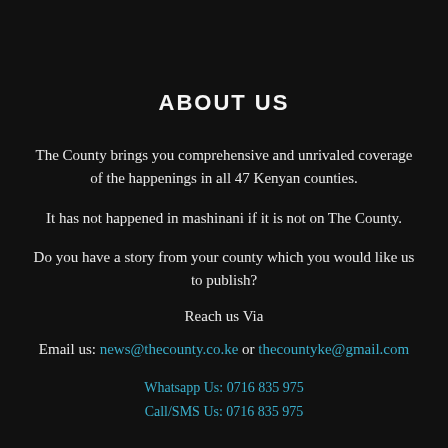ABOUT US
The County brings you comprehensive and unrivaled coverage of the happenings in all 47 Kenyan counties.
It has not happened in mashinani if it is not on The County.
Do you have a story from your county which you would like us to publish?
Reach us Via
Email us: news@thecounty.co.ke or thecountyke@gmail.com
Whatsapp Us: 0716 835 975
Call/SMS Us: 0716 835 975